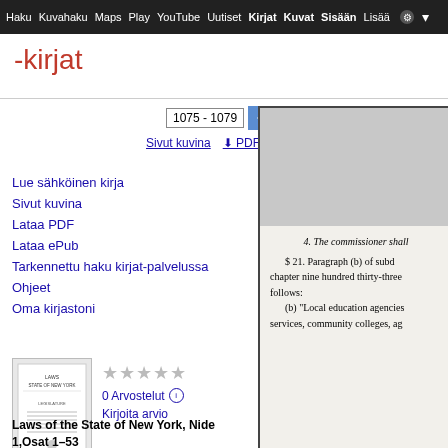Haku  Kuvahaku  Maps  Play  YouTube  Uutiset  Kirjat  Kuvat  Sisään  Lisää
-kirjat
1075 - 1079
Sivut kuvina  ⬇ PDF  ⬇ ePub
Lue sähköinen kirja
Sivut kuvina
Lataa PDF
Lataa ePub
Tarkennettu haku kirjat-palvelussa
Ohjeet
Oma kirjastoni
0 Arvostelut
Kirjoita arvio
Laws of the State of New York, Nide 1,Osat 1–53
[Figure (screenshot): Book preview panel showing partial text: '4. The commissioner shall', '$ 21. Paragraph (b) of subd', 'chapter nine hundred thirty-three', 'follows:', '(b) "Local education agencies', 'services, community colleges, ag']